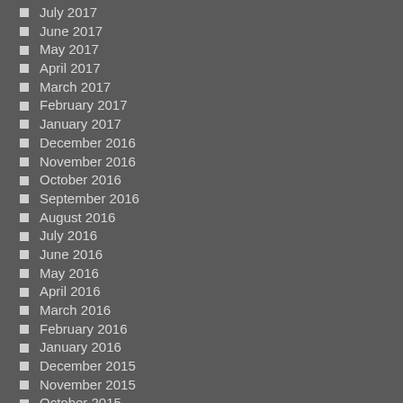July 2017
June 2017
May 2017
April 2017
March 2017
February 2017
January 2017
December 2016
November 2016
October 2016
September 2016
August 2016
July 2016
June 2016
May 2016
April 2016
March 2016
February 2016
January 2016
December 2015
November 2015
October 2015
September 2015
August 2015
July 2015